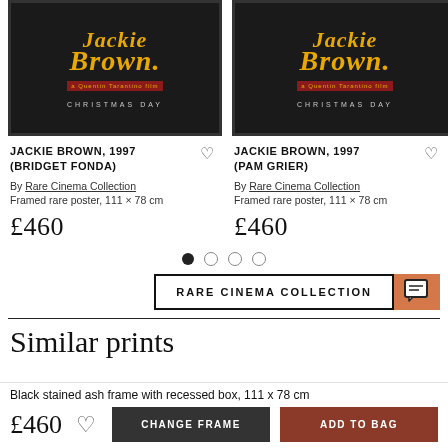[Figure (photo): Jackie Brown 1997 movie poster - Bridget Fonda variant, black background with yellow title text]
[Figure (photo): Jackie Brown 1997 movie poster - Pam Grier variant, black background with yellow title text]
JACKIE BROWN, 1997 (BRIDGET FONDA)
JACKIE BROWN, 1997 (PAM GRIER)
By Rare Cinema Collection
By Rare Cinema Collection
Framed rare poster, 111 × 78 cm
Framed rare poster, 111 × 78 cm
£460
£460
RARE CINEMA COLLECTION
Similar prints
Black stained ash frame with recessed box, 111 x 78 cm
£460
CHANGE FRAME
ADD TO BAG